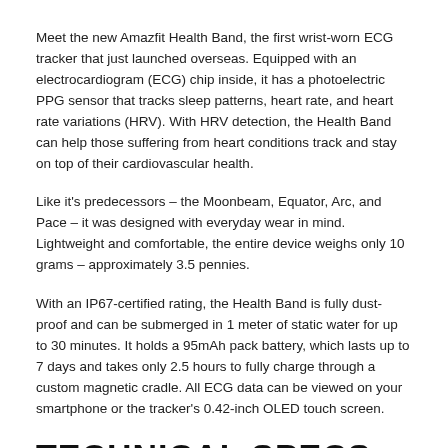Meet the new Amazfit Health Band, the first wrist-worn ECG tracker that just launched overseas. Equipped with an electrocardiogram (ECG) chip inside, it has a photoelectric PPG sensor that tracks sleep patterns, heart rate, and heart rate variations (HRV). With HRV detection, the Health Band can help those suffering from heart conditions track and stay on top of their cardiovascular health.
Like it's predecessors – the Moonbeam, Equator, Arc, and Pace – it was designed with everyday wear in mind. Lightweight and comfortable, the entire device weighs only 10 grams – approximately 3.5 pennies.
With an IP67-certified rating, the Health Band is fully dust-proof and can be submerged in 1 meter of static water for up to 30 minutes. It holds a 95mAh pack battery, which lasts up to 7 days and takes only 2.5 hours to fully charge through a custom magnetic cradle. All ECG data can be viewed on your smartphone or the tracker's 0.42-inch OLED touch screen.
TECHNICAL SPECS